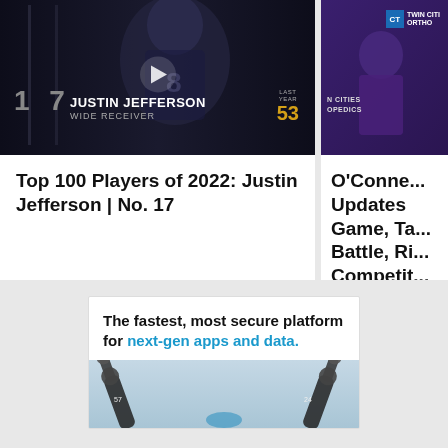[Figure (screenshot): Video thumbnail showing Justin Jefferson (#17) in football uniform. Text overlay: '17 JUSTIN JEFFERSON WIDE RECEIVER' with 'LAST YEAR 53' on the right.]
Top 100 Players of 2022: Justin Jefferson | No. 17
[Figure (photo): Photo of a person at a podium with Twin Cities Orthopaedics branding visible in the background.]
O'Conne... Updates Game, Ta... Battle, Ri... Competit...
[Figure (screenshot): Advertisement: 'The fastest, most secure platform for next-gen apps and data.' with robotic arm imagery below.]